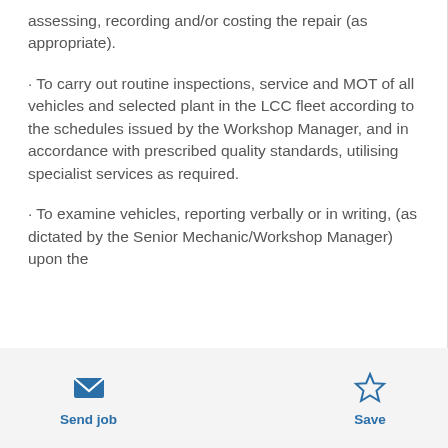assessing, recording and/or costing the repair (as appropriate).
To carry out routine inspections, service and MOT of all vehicles and selected plant in the LCC fleet according to the schedules issued by the Workshop Manager, and in accordance with prescribed quality standards, utilising specialist services as required.
To examine vehicles, reporting verbally or in writing, (as dictated by the Senior Mechanic/Workshop Manager) upon the
Send job  Save